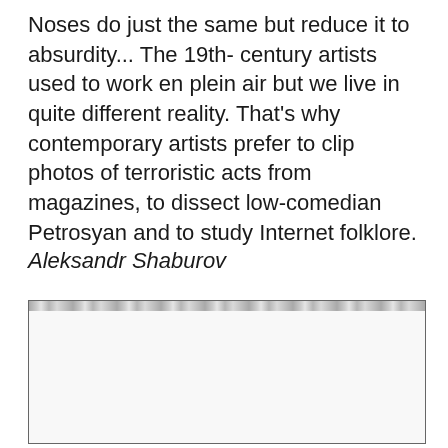Noses do just the same but reduce it to absurdity... The 19th- century artists used to work en plein air but we live in quite different reality. That's why contemporary artists prefer to clip photos of terroristic acts from magazines, to dissect low-comedian Petrosyan and to study Internet folklore.
Aleksandr Shaburov
[Figure (other): A mostly blank rectangular image area with a blurred/compressed header bar at the top containing indistinct text or graphical elements.]